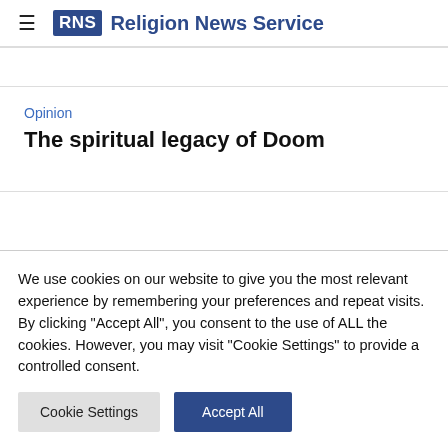RNS Religion News Service
Opinion
The spiritual legacy of Doom
We use cookies on our website to give you the most relevant experience by remembering your preferences and repeat visits. By clicking "Accept All", you consent to the use of ALL the cookies. However, you may visit "Cookie Settings" to provide a controlled consent.